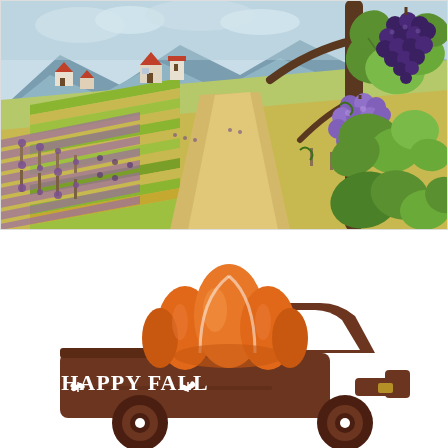[Figure (illustration): Colorful illustration of a vineyard landscape with rolling green and yellow striped fields, farmhouses and mountains in the background, and grapevines with purple grape clusters in the foreground on the right side.]
[Figure (illustration): Vintage brown farm truck silhouette carrying a large orange pumpkin in its bed, with the text 'HAPPY FALL' written on the truck side in white letters with decorative wheat/leaf motifs. Green curly vine above the pumpkin.]